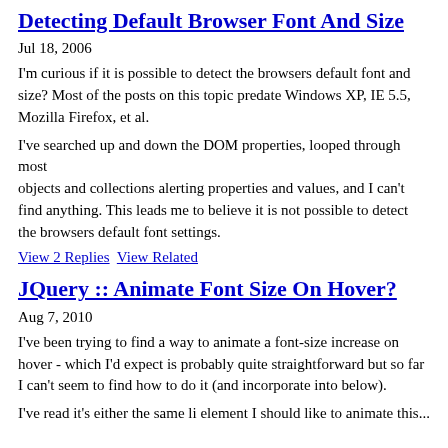Detecting Default Browser Font And Size
Jul 18, 2006
I'm curious if it is possible to detect the browsers default font and size? Most of the posts on this topic predate Windows XP, IE 5.5, Mozilla Firefox, et al.
I've searched up and down the DOM properties, looped through most objects and collections alerting properties and values, and I can't find anything. This leads me to believe it is not possible to detect the browsers default font settings.
View 2 Replies   View Related
JQuery :: Animate Font Size On Hover?
Aug 7, 2010
I've been trying to find a way to animate a font-size increase on hover - which I'd expect is probably quite straightforward but so far I can't seem to find how to do it (and incorporate into below).
I've read it's either the same li element I should like to animate this...